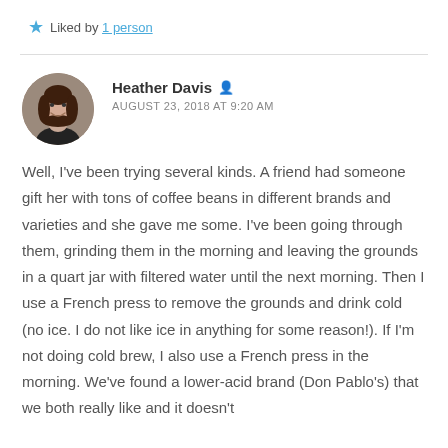★ Liked by 1 person
[Figure (photo): Circular avatar photo of Heather Davis, a woman with long brown hair, smiling, wearing a black top, against a brick background.]
Heather Davis
AUGUST 23, 2018 AT 9:20 AM
Well, I've been trying several kinds. A friend had someone gift her with tons of coffee beans in different brands and varieties and she gave me some. I've been going through them, grinding them in the morning and leaving the grounds in a quart jar with filtered water until the next morning. Then I use a French press to remove the grounds and drink cold (no ice. I do not like ice in anything for some reason!). If I'm not doing cold brew, I also use a French press in the morning. We've found a lower-acid brand (Don Pablo's) that we both really like and it doesn't